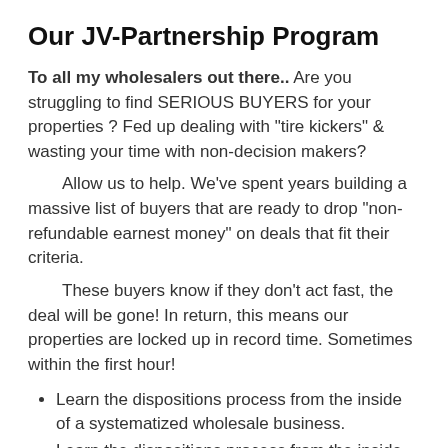Our JV-Partnership Program
To all my wholesalers out there.. Are you struggling to find SERIOUS BUYERS for your properties ? Fed up dealing with "tire kickers" & wasting your time with non-decision makers?
Allow us to help. We've spent years building a massive list of buyers that are ready to drop "non-refundable earnest money" on deals that fit their criteria.
These buyers know if they don't act fast, the deal will be gone! In return, this means our properties are locked up in record time. Sometimes within the first hour!
Learn the dispositions process from the inside of a systematized wholesale business.
Learn the dispositions process from the inside